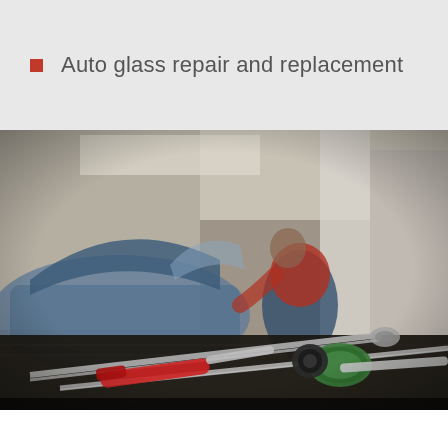Auto glass repair and replacement
[Figure (photo): A mechanic in red and blue clothing leaning over the engine of a blue car with the hood open in a garage. In the foreground, wrenches and a ratchet screwdriver with a green handle are laid on a dark surface.]